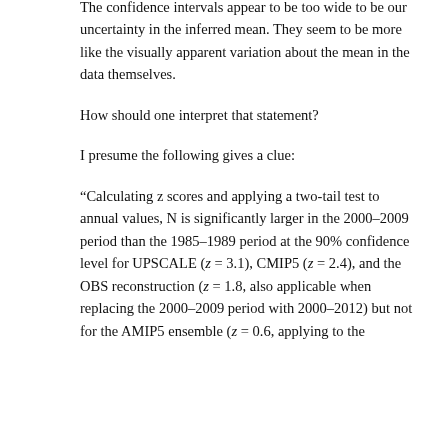The confidence intervals appear to be too wide to be our uncertainty in the inferred mean. They seem to be more like the visually apparent variation about the mean in the data themselves.
How should one interpret that statement?
I presume the following gives a clue:
“Calculating z scores and applying a two-tail test to annual values, N is significantly larger in the 2000–2009 period than the 1985–1989 period at the 90% confidence level for UPSCALE (z = 3.1), CMIP5 (z = 2.4), and the OBS reconstruction (z = 1.8, also applicable when replacing the 2000–2009 period with 2000–2012) but not for the AMIP5 ensemble (z = 0.6, applying to the